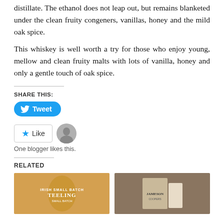distillate. The ethanol does not leap out, but remains blanketed under the clean fruity congeners, vanillas, honey and the mild oak spice.
This whiskey is well worth a try for those who enjoy young, mellow and clean fruity malts with lots of vanilla, honey and only a gentle touch of oak spice.
SHARE THIS:
[Figure (other): Twitter Tweet button (blue rounded rectangle with bird icon and 'Tweet' text)]
[Figure (other): WordPress Like button with star icon and avatar of a blogger. Text: One blogger likes this.]
RELATED
[Figure (photo): Photo of a Teeling whiskey bottle]
[Figure (photo): Photo of a Jameson whiskey box/gift set on wooden surface]